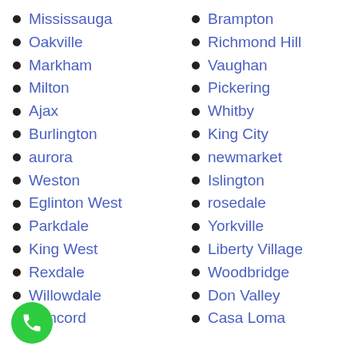Mississauga
Brampton
Oakville
Richmond Hill
Markham
Vaughan
Milton
Pickering
Ajax
Whitby
Burlington
King City
aurora
newmarket
Weston
Islington
Eglinton West
rosedale
Parkdale
Yorkville
King West
Liberty Village
Rexdale
Woodbridge
Willowdale
Don Valley
Concord
Casa Loma